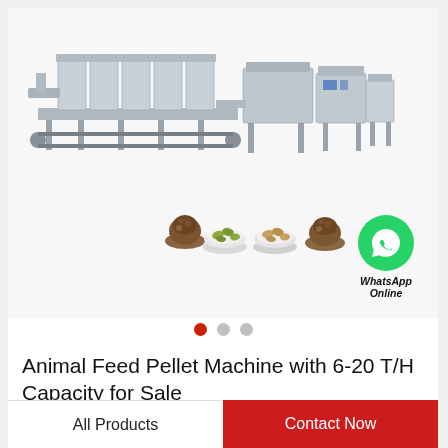[Figure (photo): Industrial animal feed pellet machine production line (stainless steel, long multi-module system) with four small bowls of different animal feed pellets below it, and a WhatsApp Online green circle badge in the bottom right of the image area.]
Animal Feed Pellet Machine with 6-20 T/H Capacity for Sale
All Products | Contact Now